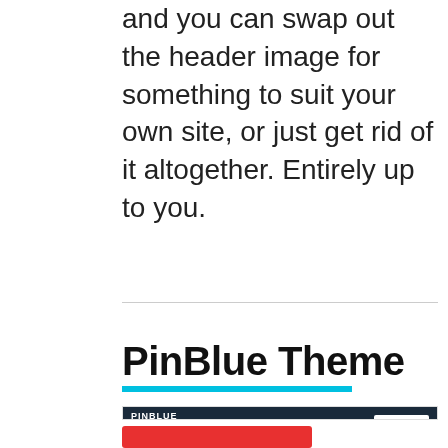and you can swap out the header image for something to suit your own site, or just get rid of it altogether. Entirely up to you.
PinBlue Theme
[Figure (screenshot): Screenshot of the PinBlue WordPress theme showing a Pinterest-style grid layout with navigation bar, logo, search box, and multiple post cards with images and titles.]